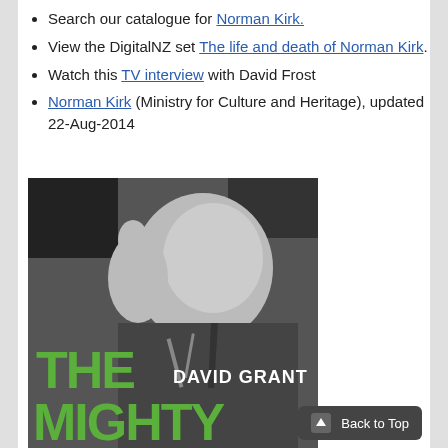Search our catalogue for Norman Kirk.
View the DigitalNZ set The life and death of Norman Kirk.
Watch this TV interview with David Frost
Norman Kirk (Ministry for Culture and Heritage), updated 22-Aug-2014
[Figure (photo): Black and white photo of Norman Kirk speaking at a podium with finger raised, overlaid with book cover text 'THE MIGHTY' by DAVID GRANT in green and white letters]
Back to Top